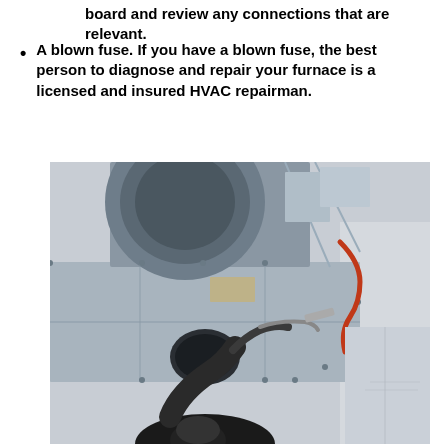board and review any connections that are relevant.
A blown fuse. If you have a blown fuse, the best person to diagnose and repair your furnace is a licensed and insured HVAC repairman.
[Figure (photo): A person working on HVAC ductwork — silver metallic sheet metal ducts and a large circular blower attached to the ceiling of a basement or utility room. A worker wearing dark clothing is reaching up with a tool toward the duct connections.]